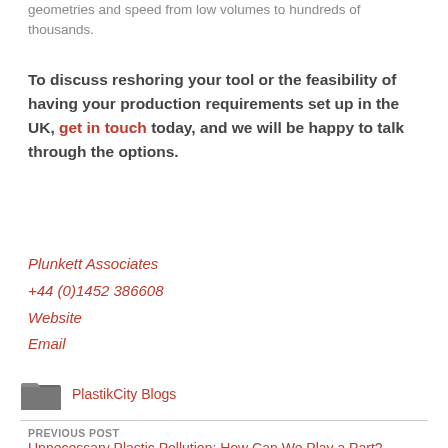geometries and speed from low volumes to hundreds of thousands.
To discuss reshoring your tool or the feasibility of having your production requirements set up in the UK, get in touch today, and we will be happy to talk through the options.
Plunkett Associates
+44 (0)1452 386608
Website
Email
PlastikCity Blogs
PREVIOUS POST
Unnecessary Plastic Pollution: How Can We Play a Part?